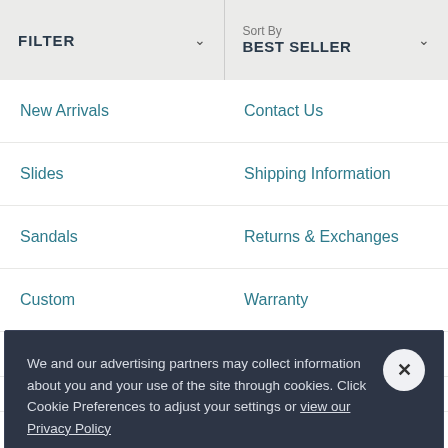FILTER
Sort By BEST SELLER
New Arrivals
Contact Us
Slides
Shipping Information
Sandals
Returns & Exchanges
Custom
Warranty
Shoes
FAQ
We and our advertising partners may collect information about you and your use of the site through cookies. Click Cookie Preferences to adjust your settings or view our Privacy Policy
Cookie Preferences
Sign In
Size Chart